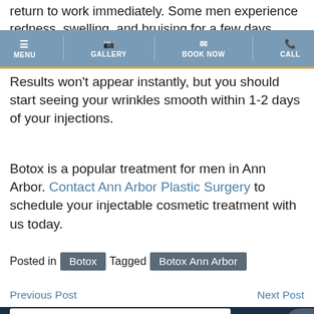return to work immediately. Some men experience redness, swelling, and bruising for a few days.
MENU  GALLERY  BOOK NOW  CALL
Results won't appear instantly, but you should start seeing your wrinkles smooth within 1-2 days of your injections.
Botox is a popular treatment for men in Ann Arbor. Contact Ann Arbor Plastic Surgery to schedule your injectable cosmetic treatment with us today.
Posted in Botox Tagged Botox Ann Arbor
Previous Post  Next Post
Looking for a Cost Estimate? ▲